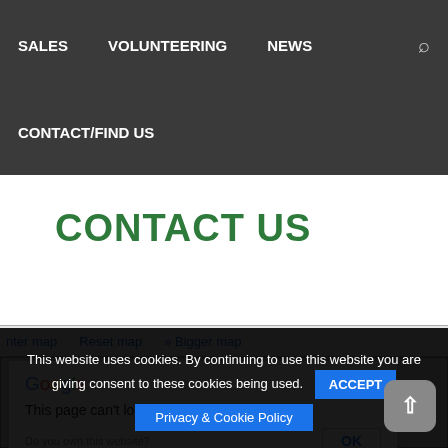SALES   VOLUNTEERING   NEWS   CONTACT/FIND US
CONTACT US
nter map   Reset map   » Bigger map
[Figure (screenshot): Google Maps error dialog showing Google logo and message: This page can't load Google Maps correctly. Do you own this website? OK button]
This website uses cookies. By continuing to use this website you are giving consent to these cookies being used.
ACCEPT
Privacy & Cookie Policy